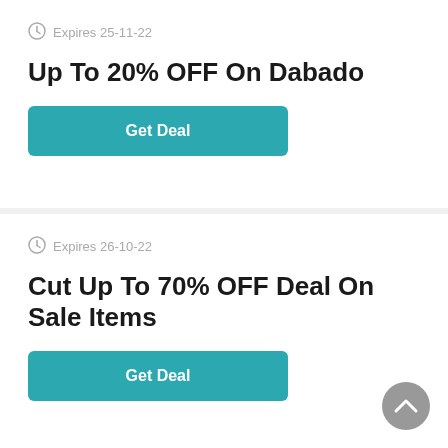Expires 25-11-22
Up To 20% OFF On Dabado
Get Deal
Expires 26-10-22
Cut Up To 70% OFF Deal On Sale Items
Get Deal